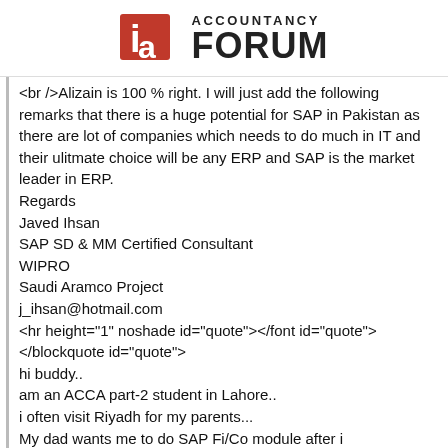ACCOUNTANCY FORUM
<br/>Alizain is 100 % right. I will just add the following remarks that there is a huge potential for SAP in Pakistan as there are lot of companies which needs to do much in IT and their ulitmate choice will be any ERP and SAP is the market leader in ERP.
Regards
Javed Ihsan
SAP SD & MM Certified Consultant
WIPRO
Saudi Aramco Project
j_ihsan@hotmail.com
<hr height="1" noshade id="quote"></font id="quote">
</blockquote id="quote">
hi buddy..
am an ACCA part-2 student in Lahore..
i often visit Riyadh for my parents...
My dad wants me to do SAP Fi/Co module after i